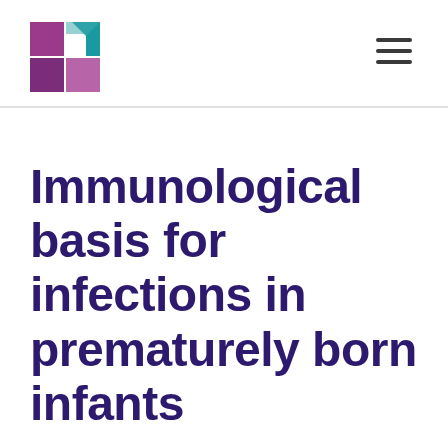[Logo and navigation]
Immunological basis for infections in prematurely born infants